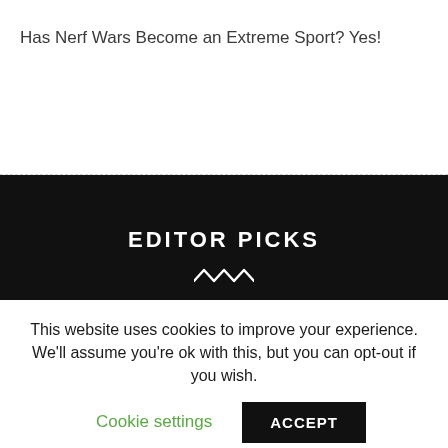Has Nerf Wars Become an Extreme Sport? Yes!
EDITOR PICKS
Golden Hours
September 15, 2021
[Figure (photo): Mountain silhouette photo with golden/purple sunset sky and a person on a mountain bike at the summit]
This website uses cookies to improve your experience. We'll assume you're ok with this, but you can opt-out if you wish.
Cookie settings
ACCEPT